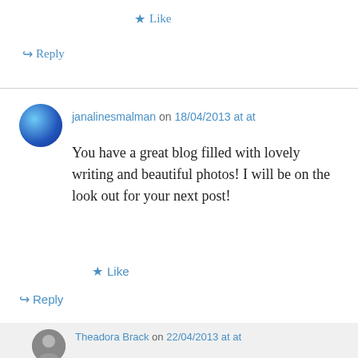★ Like
↪ Reply
janalinesmalman on 18/04/2013 at at
You have a great blog filled with lovely writing and beautiful photos! I will be on the look out for your next post!
★ Like
↪ Reply
Theadora Brack on 22/04/2013 at at
Visit Paris!! The research phase is just as fun and interesting as the trek itself. Keep